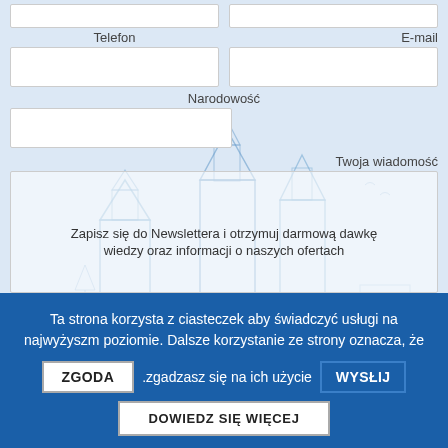Telefon
E-mail
Narodowość
Twoja wiadomość
Zapisz się do Newslettera i otrzymuj darmową dawkę wiedzy oraz informacji o naszych ofertach
Ta strona korzysta z ciasteczek aby świadczyć usługi na najwyżyszm poziomie. Dalsze korzystanie ze strony oznacza, że .zgadzasz się na ich użycie
ZGODA
WYSŁIJ
DOWIEDZ SIĘ WIĘCEJ